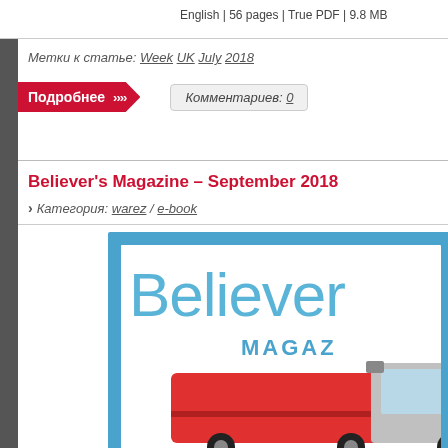English | 56 pages | True PDF | 9.8 MB
Метки к статье: Week UK July 2018
Подробнее ›››› Комментариев: 0
Believer's Magazine – September 2018
› Категория: warez / e-book
[Figure (illustration): Magazine cover preview showing 'Believer's Magazine' text in large blue letters with 'MAGAZ' subtitle and a red bus in the lower portion, framed in a blue border]